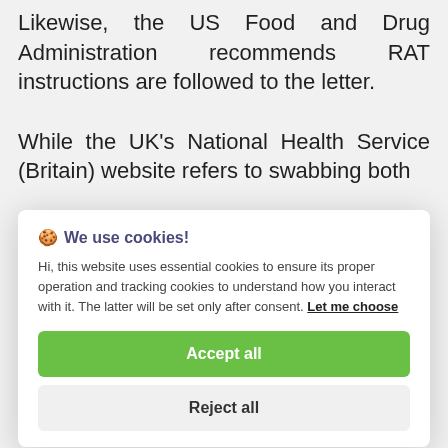Likewise, the US Food and Drug Administration recommends RAT instructions are followed to the letter.
While the UK's National Health Service (Britain) website refers to swabbing both
[Figure (screenshot): Cookie consent popup with title 'We use cookies!', body text about essential and tracking cookies, a 'Let me choose' link, an 'Accept all' green button, and a 'Reject all' grey button.]
If you wish to read about the one with best t